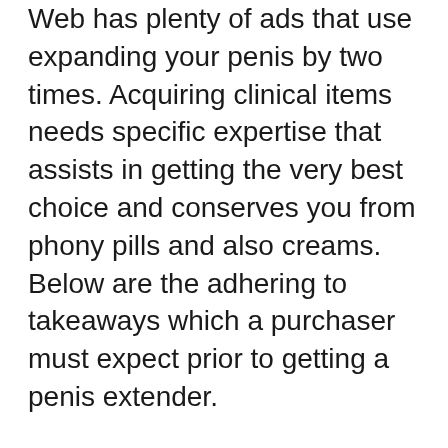Web has plenty of ads that use expanding your penis by two times. Acquiring clinical items needs specific expertise that assists in getting the very best choice and conserves you from phony pills and also creams. Below are the adhering to takeaways which a purchaser must expect prior to getting a penis extender.
Tips for acquiring the very best penis extender.
Convenience degree: The first and one of the most vital buying idea is comfort. Seek a pain-free, easy-to-wear penis extender. The product which makes up the extender needs to be soothing and allergy-free. Authenticity: Penis extender must be